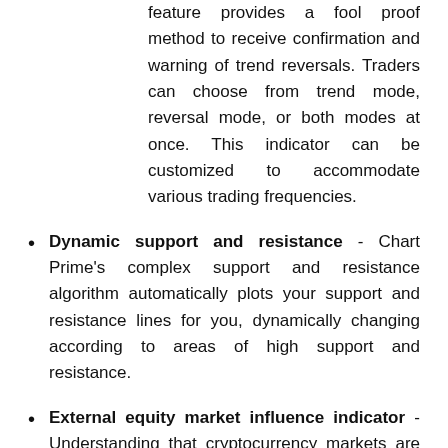feature provides a fool proof method to receive confirmation and warning of trend reversals. Traders can choose from trend mode, reversal mode, or both modes at once. This indicator can be customized to accommodate various trading frequencies.
Dynamic support and resistance - Chart Prime's complex support and resistance algorithm automatically plots your support and resistance lines for you, dynamically changing according to areas of high support and resistance.
External equity market influence indicator - Understanding that cryptocurrency markets are inextricably linked to traditional equity markets such as NASDAQ and S&P 500, Chart Prime has created an algorithm that takes this into consideration to produce external market "buy"